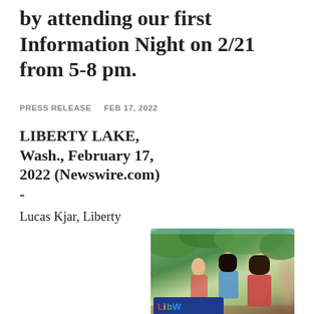by attending our first Information Night on 2/21 from 5-8 pm.
PRESS RELEASE   FEB 17, 2022
LIBERTY LAKE, Wash., February 17, 2022 (Newswire.com) - Lucas Kjar, Liberty Lake resident, father, and founder of the AutoSavvy Dealerships, announced that student, teacher, and mentor applications for Liberty Launch Academy will be opening Feb. 21. LLA is a co-ed, privately funded academy focused on an
[Figure (photo): Children with magnifying glasses and books outdoors, with Liberty Launch Academy logo overlay on dark blue background]